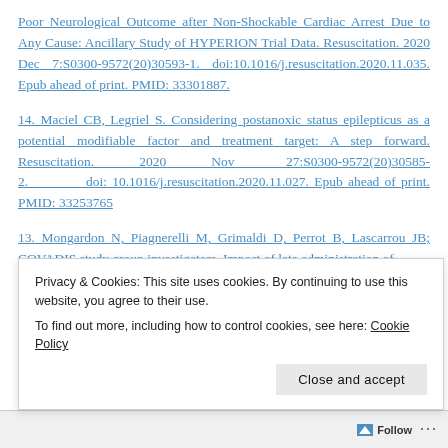Poor Neurological Outcome after Non-Shockable Cardiac Arrest Due to Any Cause: Ancillary Study of HYPERION Trial Data. Resuscitation. 2020 Dec 7:S0300-9572(20)30593-1. doi:10.1016/j.resuscitation.2020.11.035. Epub ahead of print. PMID: 33301887.
14. Maciel CB, Legriel S. Considering postanoxic status epilepticus as a potential modifiable factor and treatment target: A step forward. Resuscitation. 2020 Nov 27:S0300-9572(20)30585-2. doi:10.1016/j.resuscitation.2020.11.027. Epub ahead of print. PMID: 33253765
13. Mongardon N, Piagnerelli M, Grimaldi D, Perrot B, Lascarrou JB; COVADIS study group investigators. Impact of late administration of
Privacy & Cookies: This site uses cookies. By continuing to use this website, you agree to their use.
To find out more, including how to control cookies, see here: Cookie Policy